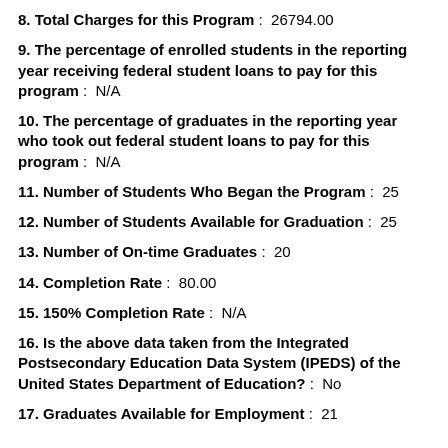8. Total Charges for this Program : 26794.00
9. The percentage of enrolled students in the reporting year receiving federal student loans to pay for this program : N/A
10. The percentage of graduates in the reporting year who took out federal student loans to pay for this program : N/A
11. Number of Students Who Began the Program : 25
12. Number of Students Available for Graduation : 25
13. Number of On-time Graduates : 20
14. Completion Rate : 80.00
15. 150% Completion Rate : N/A
16. Is the above data taken from the Integrated Postsecondary Education Data System (IPEDS) of the United States Department of Education? : No
17. Graduates Available for Employment : 21